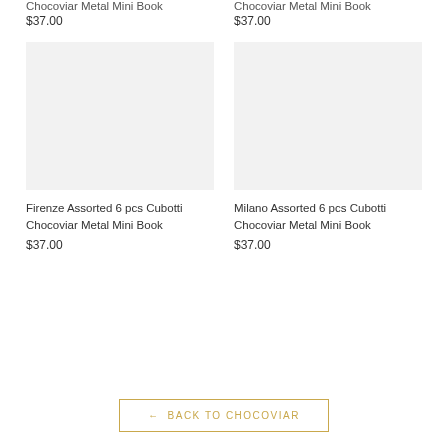Chocoviar Metal Mini Book
$37.00
Chocoviar Metal Mini Book
$37.00
[Figure (photo): Product image placeholder for Firenze Assorted 6 pcs Cubotti Chocoviar Metal Mini Book]
Firenze Assorted 6 pcs Cubotti Chocoviar Metal Mini Book
$37.00
[Figure (photo): Product image placeholder for Milano Assorted 6 pcs Cubotti Chocoviar Metal Mini Book]
Milano Assorted 6 pcs Cubotti Chocoviar Metal Mini Book
$37.00
← BACK TO CHOCOVIAR